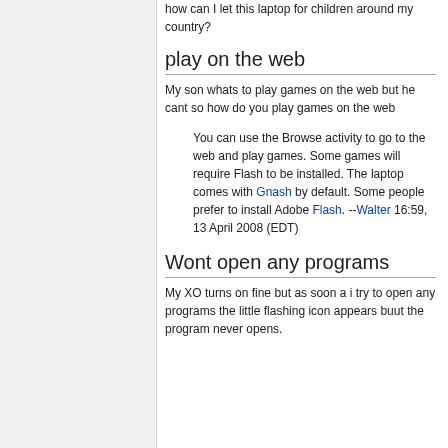how can I let this laptop for children around my country?
play on the web
My son whats to play games on the web but he cant so how do you play games on the web
You can use the Browse activity to go to the web and play games. Some games will require Flash to be installed. The laptop comes with Gnash by default. Some people prefer to install Adobe Flash. --Walter 16:59, 13 April 2008 (EDT)
Wont open any programs
My XO turns on fine but as soon a i try to open any programs the little flashing icon appears buut the program never opens.